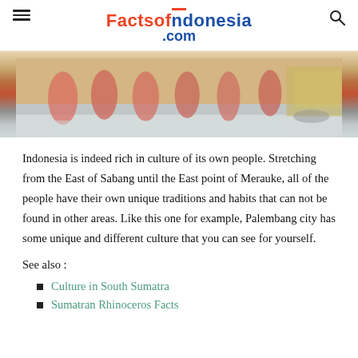Factsofindonesia.com
[Figure (photo): Traditional Indonesian performers in colorful costumes, with a decorated vehicle visible in the background]
Indonesia is indeed rich in culture of its own people. Stretching from the East of Sabang until the East point of Merauke, all of the people have their own unique traditions and habits that can not be found in other areas. Like this one for example, Palembang city has some unique and different culture that you can see for yourself.
See also :
Culture in South Sumatra
Sumatran Rhinoceros Facts